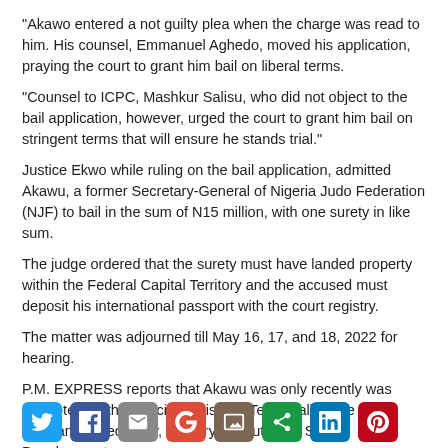“Akawo entered a not guilty plea when the charge was read to him. His counsel, Emmanuel Aghedo, moved his application, praying the court to grant him bail on liberal terms.
“Counsel to ICPC, Mashkur Salisu, who did not object to the bail application, however, urged the court to grant him bail on stringent terms that will ensure he stands trial.”
Justice Ekwo while ruling on the bail application, admitted Akawu, a former Secretary-General of Nigeria Judo Federation (NJF) to bail in the sum of N15 million, with one surety in like sum.
The judge ordered that the surety must have landed property within the Federal Capital Territory and the accused must deposit his international passport with the court registry.
The matter was adjourned till May 16, 17, and 18, 2022 for hearing.
P.M. EXPRESS reports that Akawu was only recently was promoted as the Special Assistant (Technical) to the Permanent Secretary, Ministry of Youth and Sports Development.
[Figure (other): Tweet button and social media sharing icons (Twitter, Facebook, Email, Google+, Image, Share, LinkedIn, Pinterest)]